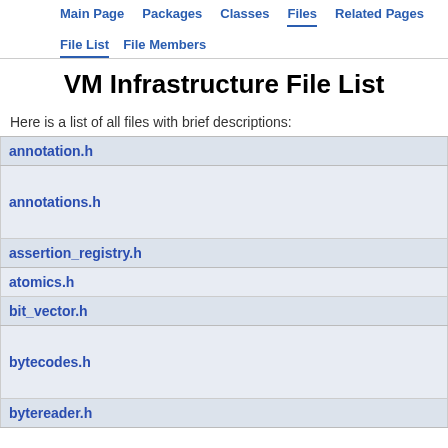Main Page | Packages | Classes | Files | Related Pages | File List | File Members
VM Infrastructure File List
Here is a list of all files with brief descriptions:
annotation.h
annotations.h
assertion_registry.h
atomics.h
bit_vector.h
bytecodes.h
bytereader.h